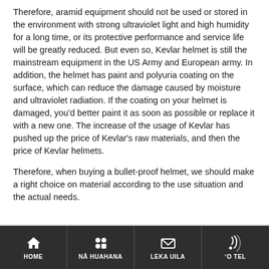Therefore, aramid equipment should not be used or stored in the environment with strong ultraviolet light and high humidity for a long time, or its protective performance and service life will be greatly reduced. But even so, Kevlar helmet is still the mainstream equipment in the US Army and European army. In addition, the helmet has paint and polyuria coating on the surface, which can reduce the damage caused by moisture and ultraviolet radiation. If the coating on your helmet is damaged, you'd better paint it as soon as possible or replace it with a new one. The increase of the usage of Kevlar has pushed up the price of Kevlar's raw materials, and then the price of Kevlar helmets.
Therefore, when buying a bullet-proof helmet, we should make a right choice on material according to the use situation and the actual needs.
HOME | NĀ HUAHANA | LEKA UILA | ʻO TEL